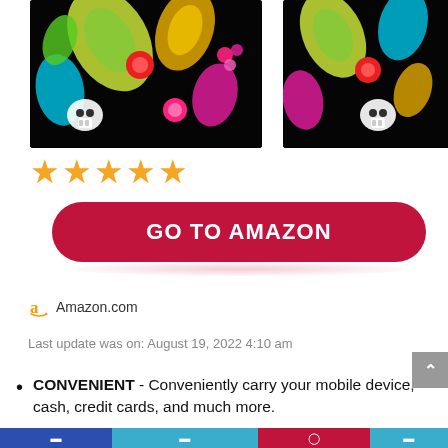[Figure (photo): Two colorful sugar skull and paisley pattern bags/wallets on black background, partially cropped at top]
[Figure (infographic): Five orange star rating icons indicating 5-star review]
[Figure (infographic): Red rounded rectangle button with text GO TO AMAZON in white bold uppercase letters]
Amazon.com
Last update was on: August 19, 2022 4:10 am
CONVENIENT - Conveniently carry your mobile device, cash, credit cards, and much more.
QUALITY - Made of high-quality synthetic leather.